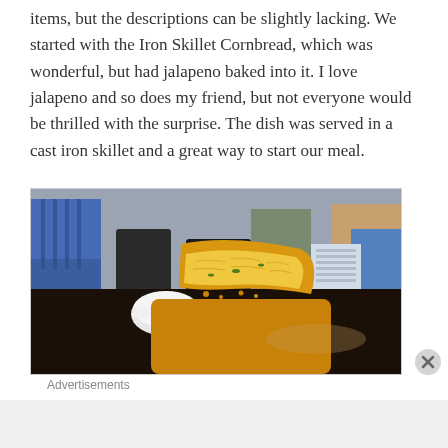items, but the descriptions can be slightly lacking. We started with the Iron Skillet Cornbread, which was wonderful, but had jalapeno baked into it. I love jalapeno and so does my friend, but not everyone would be thrilled with the surprise. The dish was served in a cast iron skillet and a great way to start our meal.
[Figure (photo): Photo of Iron Skillet Cornbread served in a cast iron skillet, with a restaurant dining area visible in the background showing chairs, tables, and other patrons.]
Advertisements